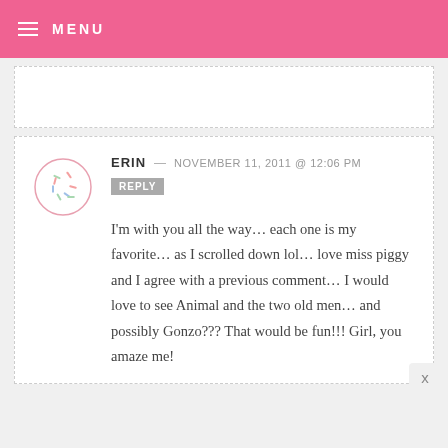MENU
ERIN — NOVEMBER 11, 2011 @ 12:06 PM REPLY
I'm with you all the way... each one is my favorite... as I scrolled down lol... love miss piggy and I agree with a previous comment... I would love to see Animal and the two old men... and possibly Gonzo??? That would be fun!!! Girl, you amaze me!